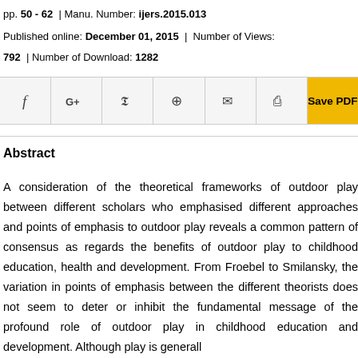pp. 50 - 62  |  Manu. Number: ijers.2015.013
Published online: December 01, 2015  |  Number of Views:
792  |  Number of Download: 1282
[Figure (other): Social sharing buttons: Facebook, Google+, Twitter, WhatsApp, Email, Print, and Save PDF button]
Abstract
A consideration of the theoretical frameworks of outdoor play between different scholars who emphasised different approaches and points of emphasis to outdoor play reveals a common pattern of consensus as regards the benefits of outdoor play to childhood education, health and development. From Froebel to Smilansky, the variation in points of emphasis between the different theorists does not seem to deter or inhibit the fundamental message of the profound role of outdoor play in childhood education and development. Although play is generall